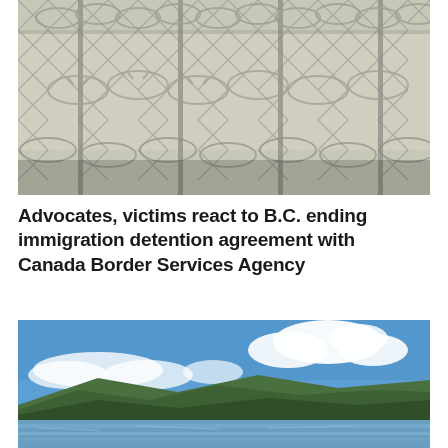[Figure (photo): Close-up photograph of a chain-link and razor-wire security fence, with a concrete wall or building structure visible behind it. The image is taken from close range showing the fence's metallic links and coiled barbed wire prominently.]
Advocates, victims react to B.C. ending immigration detention agreement with Canada Border Services Agency
[Figure (photo): Outdoor landscape photograph showing a wide river in the foreground, with green forested hills and mountains in the background under a blue sky with white clouds.]